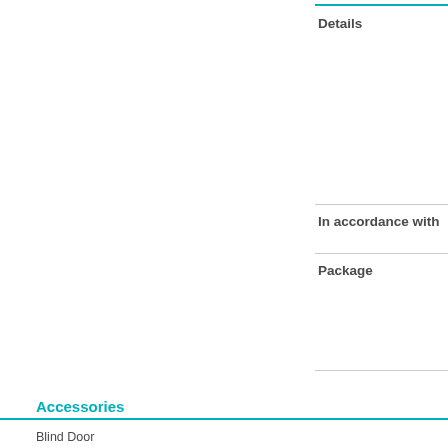Details
In accordance with
Package
Accessories
Blind Door